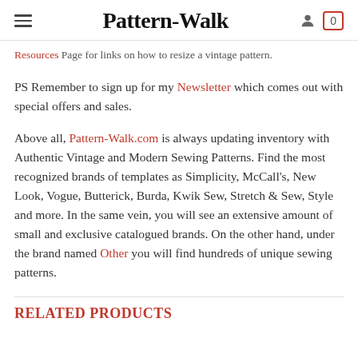Pattern-Walk
Resources Page for links on how to resize a vintage pattern.
PS Remember to sign up for my Newsletter which comes out with special offers and sales.
Above all, Pattern-Walk.com is always updating inventory with Authentic Vintage and Modern Sewing Patterns. Find the most recognized brands of templates as Simplicity, McCall's, New Look, Vogue, Butterick, Burda, Kwik Sew, Stretch & Sew, Style and more. In the same vein, you will see an extensive amount of small and exclusive catalogued brands. On the other hand, under the brand named Other you will find hundreds of unique sewing patterns.
RELATED PRODUCTS